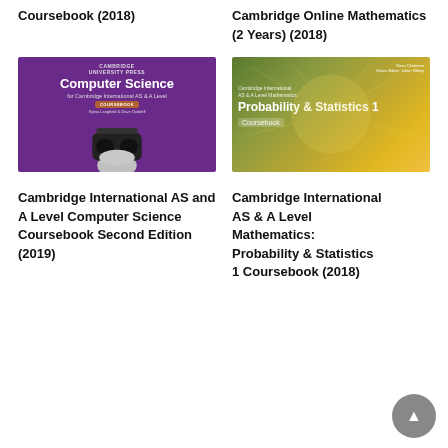Coursebook (2018)
Cambridge Online Mathematics (2 Years) (2018)
[Figure (photo): Purple book cover: Computer Science for Cambridge International AS & A Level Coursebook, with a VR headset graphic. Publisher: Cambridge University Press. Authors: Sylvia Langfield & Dave Duddell.]
[Figure (photo): Book cover: Cambridge International AS & A Level Mathematics: Probability & Statistics 1 Coursebook. Background: macro dandelion seeds. Authors: Dean Chalmers, Series Editor: Julian Gilbey.]
Cambridge International AS and A Level Computer Science Coursebook Second Edition (2019)
Cambridge International AS & A Level Mathematics: Probability & Statistics 1 Coursebook (2018)